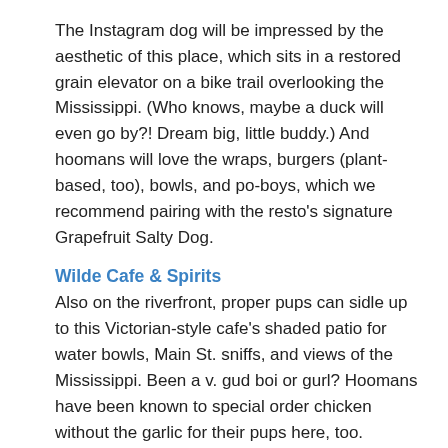The Instagram dog will be impressed by the aesthetic of this place, which sits in a restored grain elevator on a bike trail overlooking the Mississippi. (Who knows, maybe a duck will even go by?! Dream big, little buddy.) And hoomans will love the wraps, burgers (plant-based, too), bowls, and po-boys, which we recommend pairing with the resto's signature Grapefruit Salty Dog.
Wilde Cafe & Spirits
Also on the riverfront, proper pups can sidle up to this Victorian-style cafe's shaded patio for water bowls, Main St. sniffs, and views of the Mississippi. Been a v. gud boi or gurl? Hoomans have been known to special order chicken without the garlic for their pups here, too.
TERZO
Like a real-life version of Lady & The Tramp, this